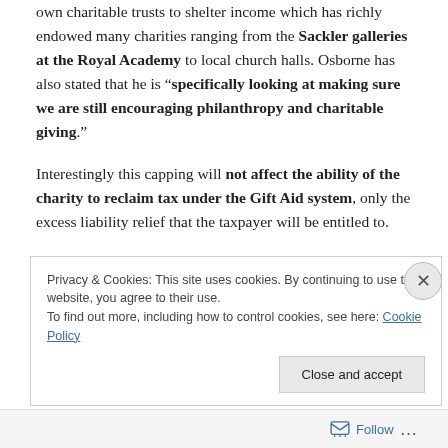own charitable trusts to shelter income which has richly endowed many charities ranging from the Sackler galleries at the Royal Academy to local church halls. Osborne has also stated that he is “specifically looking at making sure we are still encouraging philanthropy and charitable giving.”
Interestingly this capping will not affect the ability of the charity to reclaim tax under the Gift Aid system, only the excess liability relief that the taxpayer will be entitled to.
Privacy & Cookies: This site uses cookies. By continuing to use this website, you agree to their use.
To find out more, including how to control cookies, see here: Cookie Policy
Close and accept
Follow ...